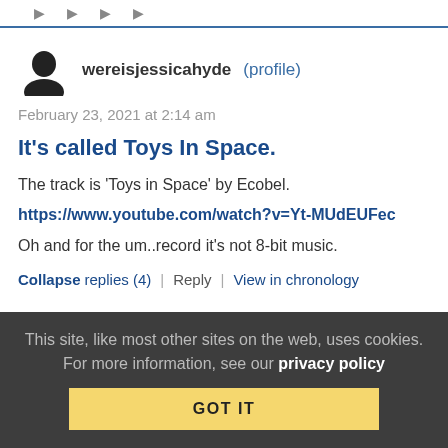wereisjessicahyde (profile)
February 23, 2021 at 2:14 am
It's called Toys In Space.
The track is 'Toys in Space' by Ecobel.
https://www.youtube.com/watch?v=Yt-MUdEUFec
Oh and for the um..record it's not 8-bit music.
Collapse replies (4) | Reply | View in chronology
This site, like most other sites on the web, uses cookies. For more information, see our privacy policy GOT IT